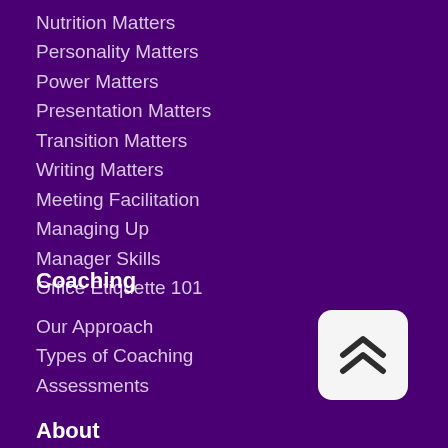Nutrition Matters
Personality Matters
Power Matters
Presentation Matters
Transition Matters
Writing Matters
Meeting Facilitation
Managing Up
Manager Skills
Office Etiquette 101
Coaching
Our Approach
Types of Coaching
Assessments
About
[Figure (illustration): Back to top button: white rounded rectangle with a dark chevron/up-arrow icon]